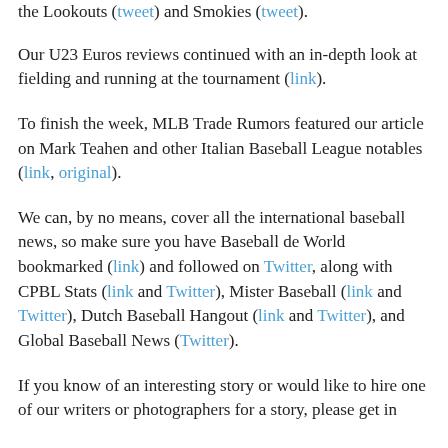the Lookouts (tweet) and Smokies (tweet).
Our U23 Euros reviews continued with an in-depth look at fielding and running at the tournament (link).
To finish the week, MLB Trade Rumors featured our article on Mark Teahen and other Italian Baseball League notables (link, original).
We can, by no means, cover all the international baseball news, so make sure you have Baseball de World bookmarked (link) and followed on Twitter, along with CPBL Stats (link and Twitter), Mister Baseball (link and Twitter), Dutch Baseball Hangout (link and Twitter), and Global Baseball News (Twitter).
If you know of an interesting story or would like to hire one of our writers or photographers for a story, please get in